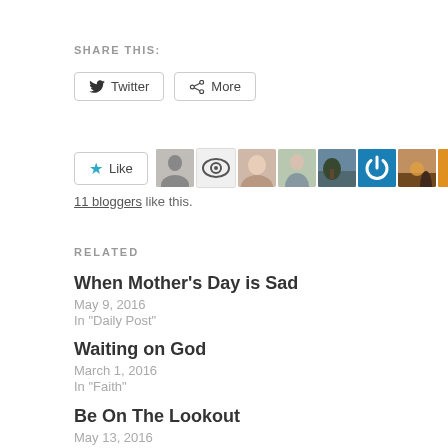SHARE THIS:
Twitter  More
Like  11 bloggers like this.
RELATED
When Mother's Day is Sad
May 9, 2016
In "Daily Post"
Waiting on God
March 1, 2016
In "Faith"
Be On The Lookout
May 13, 2016